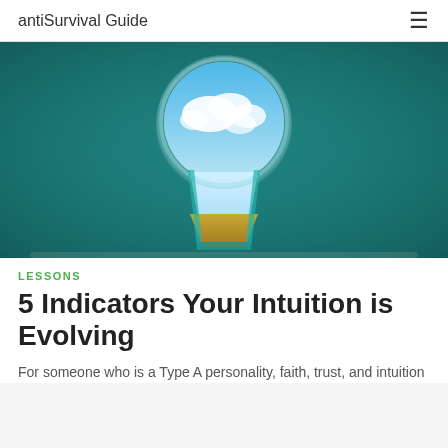antiSurvival Guide
[Figure (illustration): A teal/dark green wall with a large keyhole-shaped opening revealing a bright blue sky with white clouds above and a golden grassy field below, symbolizing opportunity and vision.]
LESSONS
5 Indicators Your Intuition is Evolving
For someone who is a Type A personality, faith, trust, and intuition